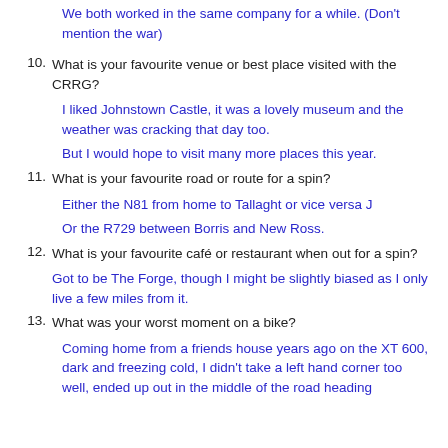We both worked in the same company for a while. (Don't mention the war)
10. What is your favourite venue or best place visited with the CRRG?
I liked Johnstown Castle, it was a lovely museum and the weather was cracking that day too.
But I would hope to visit many more places this year.
11. What is your favourite road or route for a spin?
Either the N81 from home to Tallaght or vice versa J
Or the R729 between Borris and New Ross.
12. What is your favourite café or restaurant when out for a spin?
Got to be The Forge, though I might be slightly biased as I only live a few miles from it.
13. What was your worst moment on a bike?
Coming home from a friends house years ago on the XT 600, dark and freezing cold, I didn't take a left hand corner too well, ended up out in the middle of the road heading